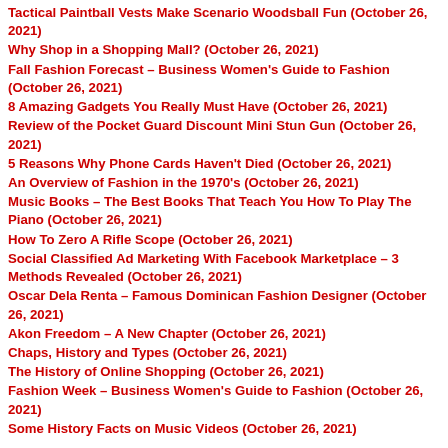Tactical Paintball Vests Make Scenario Woodsball Fun (October 26, 2021)
Why Shop in a Shopping Mall? (October 26, 2021)
Fall Fashion Forecast – Business Women's Guide to Fashion (October 26, 2021)
8 Amazing Gadgets You Really Must Have (October 26, 2021)
Review of the Pocket Guard Discount Mini Stun Gun (October 26, 2021)
5 Reasons Why Phone Cards Haven't Died (October 26, 2021)
An Overview of Fashion in the 1970's (October 26, 2021)
Music Books – The Best Books That Teach You How To Play The Piano (October 26, 2021)
How To Zero A Rifle Scope (October 26, 2021)
Social Classified Ad Marketing With Facebook Marketplace – 3 Methods Revealed (October 26, 2021)
Oscar Dela Renta – Famous Dominican Fashion Designer (October 26, 2021)
Akon Freedom – A New Chapter (October 26, 2021)
Chaps, History and Types (October 26, 2021)
The History of Online Shopping (October 26, 2021)
Fashion Week – Business Women's Guide to Fashion (October 26, 2021)
Some History Facts on Music Videos (October 26, 2021)